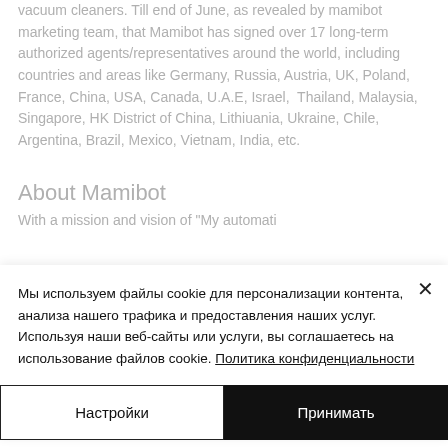vacuum cleaners. Till end of June, as revealed by mamibot marketing team, that Mamibot has signed over 17 long-term authorized agents/representatives around the world, including countries and areas like Germany, Russia, Austria, UK, Poland, France, China, USA, Canada, U.A.E, Israel, Thailand, Malaysia, Singapore, HK District of China, Lithiuania, Ukraine, Chile, Argentina, Brazil, Mexico, Vietnam, India, etc.
About Mamibot
With a mission and vision of "My automati
Мы используем файлы cookie для персонализации контента, анализа нашего трафика и предоставления наших услуг. Используя наши веб-сайты или услуги, вы соглашаетесь на использование файлов cookie. Политика конфиденциальности
Настройки
Принимать